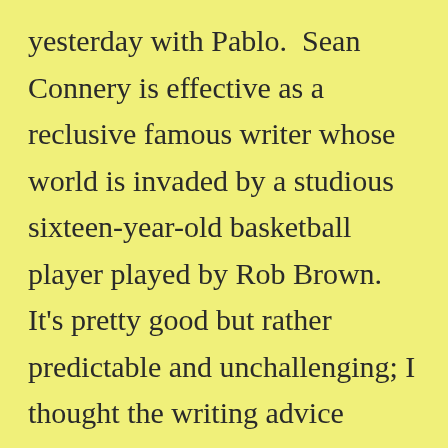yesterday with Pablo.  Sean Connery is effective as a reclusive famous writer whose world is invaded by a studious sixteen-year-old basketball player played by Rob Brown.  It's pretty good but rather predictable and unchallenging; I thought the writing advice unpersuasive at times.  Pablo